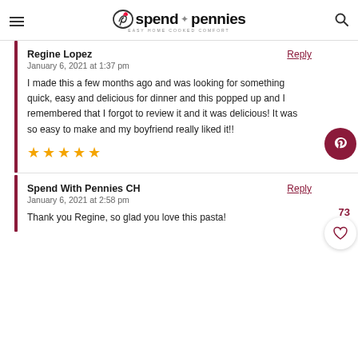spend with pennies — EASY HOME COOKED COMFORT
Regine Lopez
Reply
January 6, 2021 at 1:37 pm
I made this a few months ago and was looking for something quick, easy and delicious for dinner and this popped up and I remembered that I forgot to review it and it was delicious! It was so easy to make and my boyfriend really liked it!!
[Figure (other): Five orange/yellow stars rating]
Spend With Pennies CH
Reply
January 6, 2021 at 2:58 pm
Thank you Regine, so glad you love this pasta!